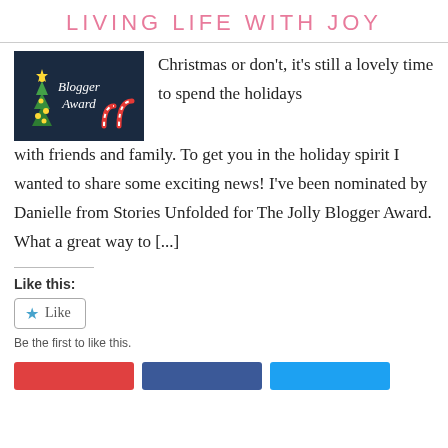LIVING LIFE WITH JOY
[Figure (photo): Blogger Award badge with Christmas tree decoration and candy canes on dark background]
Christmas or don't, it's still a lovely time to spend the holidays with friends and family. To get you in the holiday spirit I wanted to share some exciting news!  I've been nominated by Danielle from Stories Unfolded for The Jolly Blogger Award.  What a great way to [...]
Like this:
Like
Be the first to like this.